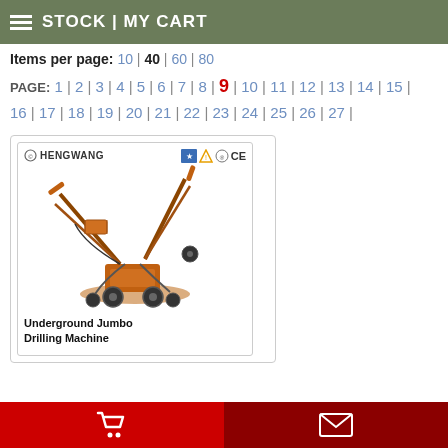STOCK | MY CART
Items per page: 10 | 40 | 60 | 80
PAGE: 1 | 2 | 3 | 4 | 5 | 6 | 7 | 8 | 9 | 10 | 11 | 12 | 13 | 14 | 15 | 16 | 17 | 18 | 19 | 20 | 21 | 22 | 23 | 24 | 25 | 26 | 27 |
[Figure (photo): Underground Jumbo Drilling Machine by HENGWANG — photo of orange industrial drilling rig with multiple drill arms, shown against white background. HENGWANG logo and CE/certification badges visible.]
Cart icon | Envelope icon